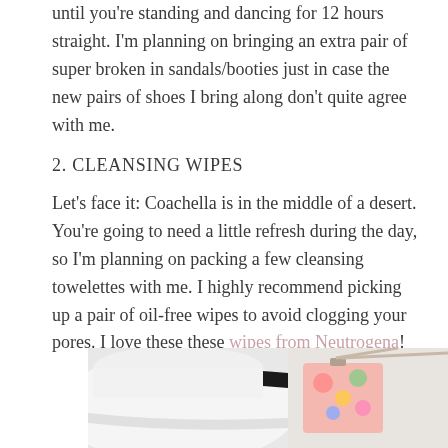until you're standing and dancing for 12 hours straight. I'm planning on bringing an extra pair of super broken in sandals/booties just in case the new pairs of shoes I bring along don't quite agree with me.
2. CLEANSING WIPES
Let's face it: Coachella is in the middle of a desert. You're going to need a little refresh during the day, so I'm planning on packing a few cleansing towelettes with me. I highly recommend picking up a pair of oil-free wipes to avoid clogging your pores. I love these these wipes from Neutrogena!
[Figure (photo): White sun hat and colorful floral patterned small handbag on a light background]